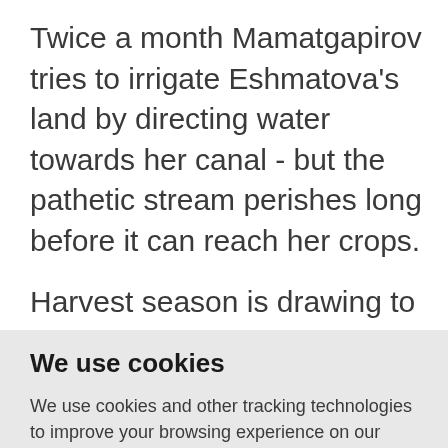Twice a month Mamatgapirov tries to irrigate Eshmatova's land by directing water towards her canal - but the pathetic stream perishes long before it can reach her crops.
Harvest season is drawing to a close, yet hundreds of harvested onions lie
We use cookies
We use cookies and other tracking technologies to improve your browsing experience on our website, to show you personalized content and targeted ads, to analyze our website traffic, and to understand where our visitors are coming from.